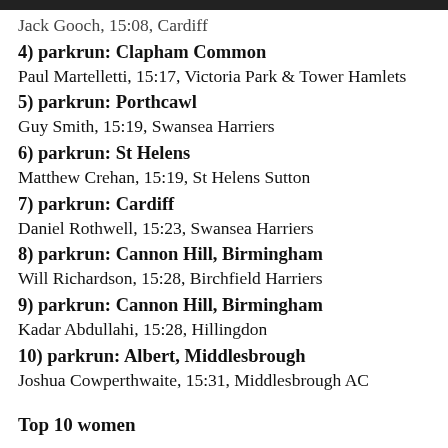Jack Gooch, 15:08, Cardiff
4) parkrun: Clapham Common
Paul Martelletti, 15:17, Victoria Park & Tower Hamlets
5) parkrun: Porthcawl
Guy Smith, 15:19, Swansea Harriers
6) parkrun: St Helens
Matthew Crehan, 15:19, St Helens Sutton
7) parkrun: Cardiff
Daniel Rothwell, 15:23, Swansea Harriers
8) parkrun: Cannon Hill, Birmingham
Will Richardson, 15:28, Birchfield Harriers
9) parkrun: Cannon Hill, Birmingham
Kadar Abdullahi, 15:28, Hillingdon
10) parkrun: Albert, Middlesbrough
Joshua Cowperthwaite, 15:31, Middlesbrough AC
Top 10 women